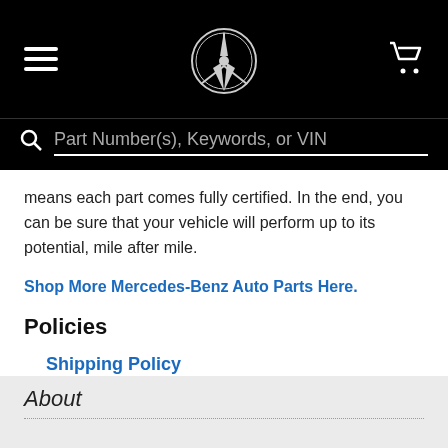Mercedes-Benz header with logo, hamburger menu, cart icon, and search bar: Part Number(s), Keywords, or VIN
means each part comes fully certified. In the end, you can be sure that your vehicle will perform up to its potential, mile after mile.
Shop More Mercedes-Benz Auto Parts Here.
Policies
Shipping Policy
Returns Policy
Contact Us
About